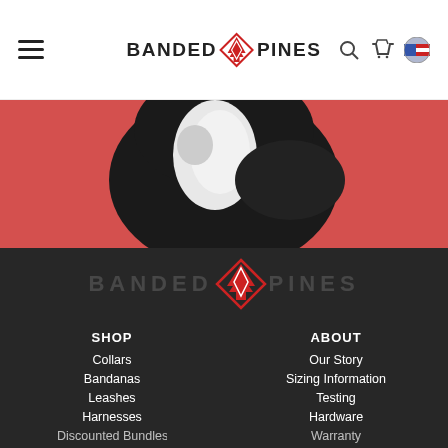BANDED PINES — navigation header with hamburger menu, search, cart, and country icons
[Figure (photo): Close-up photo of a dog (black and white coloring) against a red/coral background]
[Figure (logo): Banded Pines footer logo with pine tree icon, white text on dark background]
SHOP
Collars
Bandanas
Leashes
Harnesses
Discounted Bundles
ABOUT
Our Story
Sizing Information
Testing
Hardware
Warranty